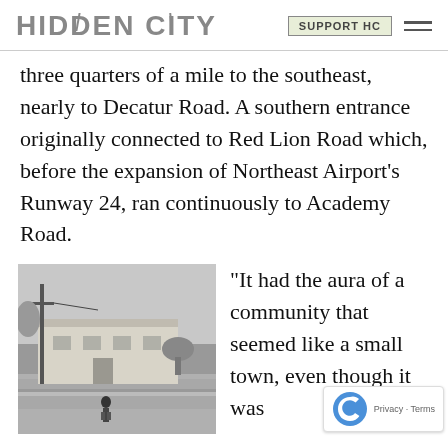HIDDEN CITY | SUPPORT HC
three quarters of a mile to the southeast, nearly to Decatur Road. A southern entrance originally connected to Red Lion Road which, before the expansion of Northeast Airport's Runway 24, ran continuously to Academy Road.
[Figure (photo): Black and white photograph of a street scene showing a low single-story building, a utility pole, and a small child standing on a sidewalk.]
“It had the aura of a community that seemed like a small town, even though it was